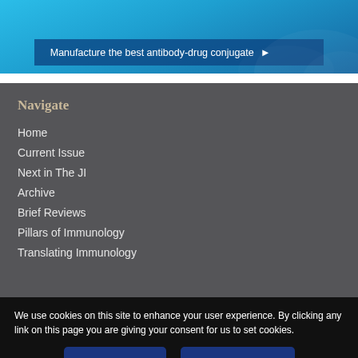[Figure (illustration): Blue gradient banner advertisement with text 'Manufacture the best antibody-drug conjugate' and a right-pointing arrow, on a blue background with subtle wave/pattern design.]
Navigate
Home
Current Issue
Next in The JI
Archive
Brief Reviews
Pillars of Immunology
Translating Immunology
We use cookies on this site to enhance your user experience. By clicking any link on this page you are giving your consent for us to set cookies.
Continue    Find out more